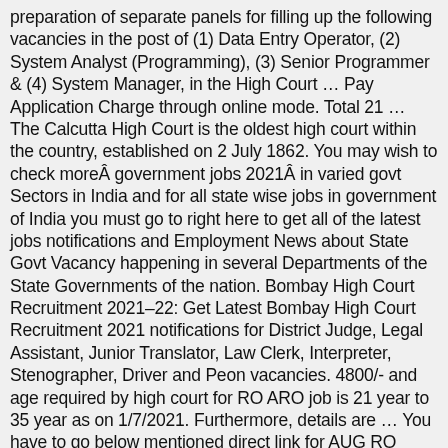preparation of separate panels for filling up the following vacancies in the post of (1) Data Entry Operator, (2) System Analyst (Programming), (3) Senior Programmer & (4) System Manager, in the High Court … Pay Application Charge through online mode. Total 21 … The Calcutta High Court is the oldest high court within the country, established on 2 July 1862. You may wish to check more government jobs 2021 in varied govt Sectors in India and for all state wise jobs in government of India you must go to right here to get all of the latest jobs notifications and Employment News about State Govt Vacancy happening in several Departments of the State Governments of the nation. Bombay High Court Recruitment 2021–22: Get Latest Bombay High Court Recruitment 2021 notifications for District Judge, Legal Assistant, Junior Translator, Law Clerk, Interpreter, Stenographer, Driver and Peon vacancies. 4800/- and age required by high court for RO ARO job is 21 year to 35 year as on 1/7/2021. Furthermore, details are … You have to go below mentioned direct link for AUG RO Online application